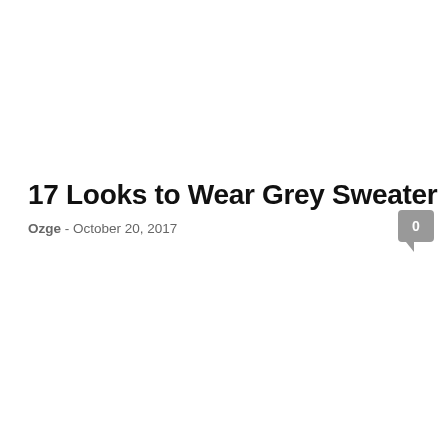17 Looks to Wear Grey Sweater
Ozge - October 20, 2017
[Figure (other): Comment count bubble showing '0']